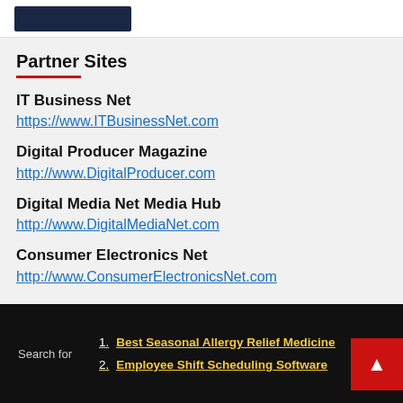[Figure (screenshot): Top partial image bar showing a dark navy banner/logo placeholder]
Partner Sites
IT Business Net
https://www.ITBusinessNet.com
Digital Producer Magazine
http://www.DigitalProducer.com
Digital Media Net Media Hub
http://www.DigitalMediaNet.com
Consumer Electronics Net
http://www.ConsumerElectronicsNet.com
Search for
1. Best Seasonal Allergy Relief Medicine
2. Employee Shift Scheduling Software